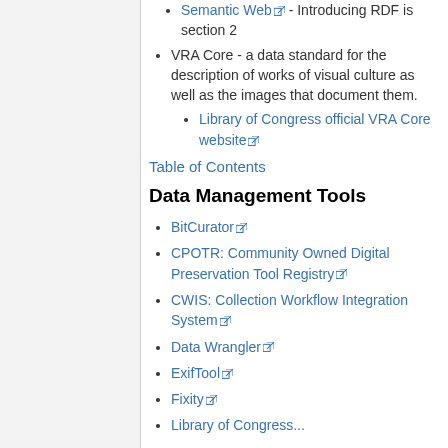Semantic Web - Introducing RDF is section 2
VRA Core - a data standard for the description of works of visual culture as well as the images that document them.
Library of Congress official VRA Core website
Table of Contents
Data Management Tools
BitCurator
CPOTR: Community Owned Digital Preservation Tool Registry
CWIS: Collection Workflow Integration System
Data Wrangler
ExifTool
Fixity
Library of Congress...